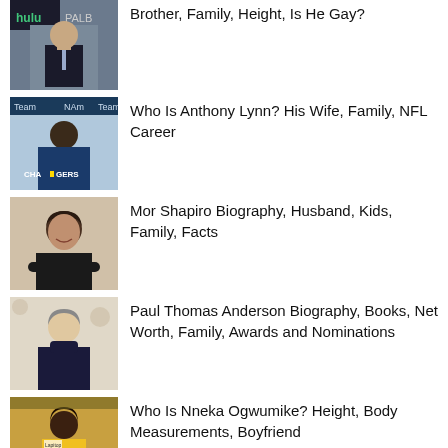Brother, Family, Height, Is He Gay?
Who Is Anthony Lynn? His Wife, Family, NFL Career
Mor Shapiro Biography, Husband, Kids, Family, Facts
Paul Thomas Anderson Biography, Books, Net Worth, Family, Awards and Nominations
Who Is Nneka Ogwumike? Height, Body Measurements, Boyfriend